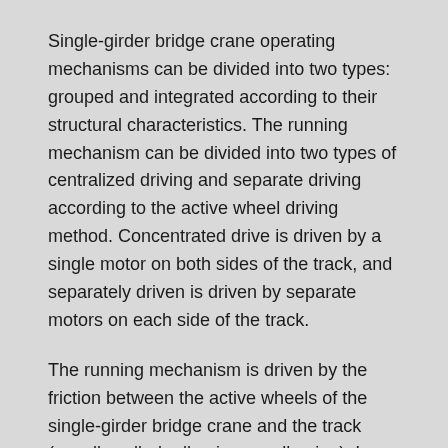Single-girder bridge crane operating mechanisms can be divided into two types: grouped and integrated according to their structural characteristics. The running mechanism can be divided into two types of centralized driving and separate driving according to the active wheel driving method. Concentrated drive is driven by a single motor on both sides of the track, and separately driven is driven by separate motors on each side of the track.
The running mechanism is driven by the friction between the active wheels of the single-girder bridge crane and the track (usually called adhesion or adhesion). In order to ensure sufficient adhesion, the running mechanism should have enough driving wheels (active wheels). The driving wheels should be properly arranged and in any case should have sufficient wheel pressure, otherwise it will affect normal operation. The driving wheels of the running mechanism on the bridge crane are usually half of the total number of wheels, and are arranged in the